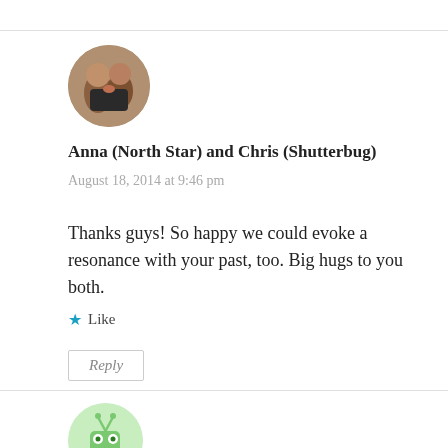[Figure (photo): Circular avatar photo of two people hugging outdoors]
Anna (North Star) and Chris (Shutterbug)
August 18, 2014 at 9:46 pm
Thanks guys! So happy we could evoke a resonance with your past, too. Big hugs to you both.
★ Like
Reply
[Figure (illustration): Circular avatar with a cartoon green alien/robot character]